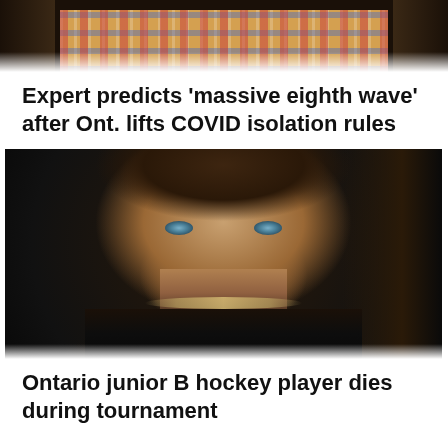[Figure (photo): Partial photo of a person wearing a plaid shirt, cropped to show shoulders and lower face area, top portion of the page]
Expert predicts 'massive eighth wave' after Ont. lifts COVID isolation rules
[Figure (photo): Portrait photo of a young man with curly brown hair and light blue eyes wearing a black shirt with a gold chain necklace, set against a dark background]
Ontario junior B hockey player dies during tournament